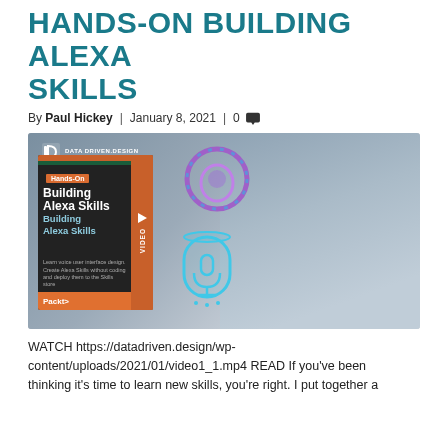HANDS-ON BUILDING ALEXA SKILLS
By Paul Hickey | January 8, 2021 | 0
[Figure (photo): Promotional image for 'Hands-On Building Alexa Skills' video course showing the book cover with Packt publisher logo, Amazon Echo/Alexa icons, and a smiling man in a grey suit. Data Driven.Design logo in upper left.]
WATCH https://datadriven.design/wp-content/uploads/2021/01/video1_1.mp4 READ If you've been thinking it's time to learn new skills, you're right. I put together a